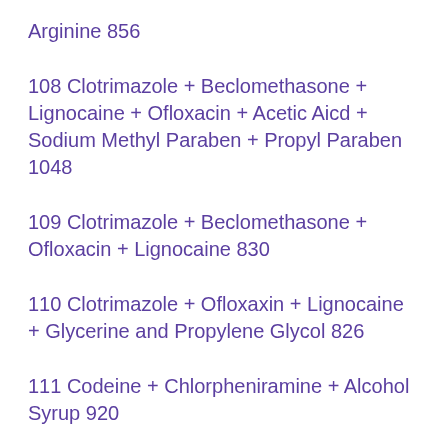Arginine 856
108 Clotrimazole + Beclomethasone + Lignocaine + Ofloxacin + Acetic Aicd + Sodium Methyl Paraben + Propyl Paraben 1048
109 Clotrimazole + Beclomethasone + Ofloxacin + Lignocaine 830
110 Clotrimazole + Ofloxaxin + Lignocaine + Glycerine and Propylene Glycol 826
111 Codeine + Chlorpheniramine + Alcohol Syrup 920